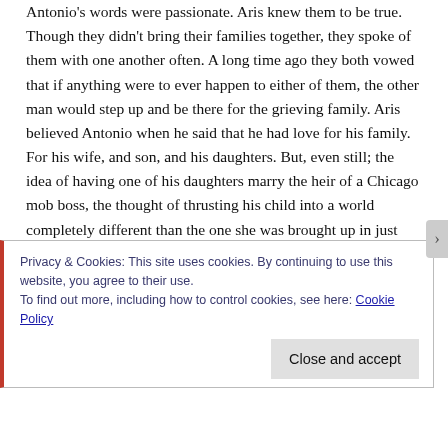Antonio's words were passionate. Aris knew them to be true. Though they didn't bring their families together, they spoke of them with one another often. A long time ago they both vowed that if anything were to ever happen to either of them, the other man would step up and be there for the grieving family. Aris believed Antonio when he said that he had love for his family. For his wife, and son, and his daughters. But, even still; the idea of having one of his daughters marry the heir of a Chicago mob boss, the thought of thrusting his child into a world completely different than the one she was brought up in just seemed ... wrong.
“How do I know my daughter would be accepted?” Aris asked,
Privacy & Cookies: This site uses cookies. By continuing to use this website, you agree to their use.
To find out more, including how to control cookies, see here: Cookie Policy
Close and accept